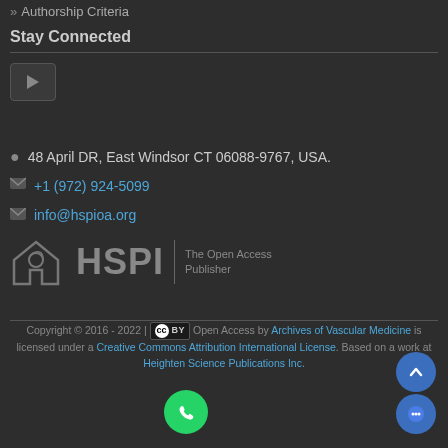>> Authorship Criteria
Stay Connected
[Figure (other): YouTube button icon]
48 April DR, East Windsor CT 06088-9767, USA.
+1 (972) 924-5099
info@hspioa.org
[Figure (logo): HSPI logo with house-shaped icon and text 'HSPI | The Open Access Publisher']
Copyright © 2016 - 2022 | CC BY Open Access by Archives of Vascular Medicine is licensed under a Creative Commons Attribution International License. Based on a work at Heighten Science Publications Inc.